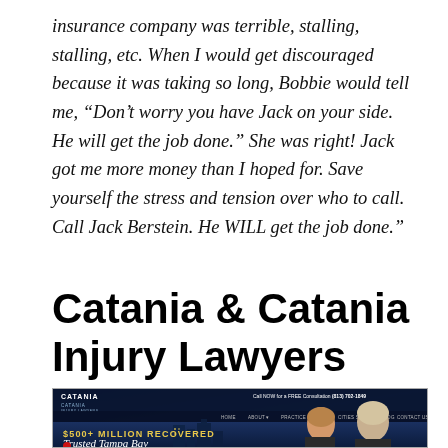insurance company was terrible, stalling, stalling, etc. When I would get discouraged because it was taking so long, Bobbie would tell me, “Don’t worry you have Jack on your side. He will get the job done.” She was right! Jack got me more money than I hoped for. Save yourself the stress and tension over who to call. Call Jack Berstein. He WILL get the job done.”
Catania & Catania Injury Lawyers
[Figure (screenshot): Screenshot of Catania & Catania Injury Lawyers website header showing logo, navigation bar with Home, About, Practice Areas, Cities Served, Blog, Contact Us, Espanol links, phone number (813) 702-1849 for free consultation, '$500+ Million Recovered' text in gold, 'Trusted Tampa Bay...' text, city skyline background, and two lawyers' faces on the right side.]